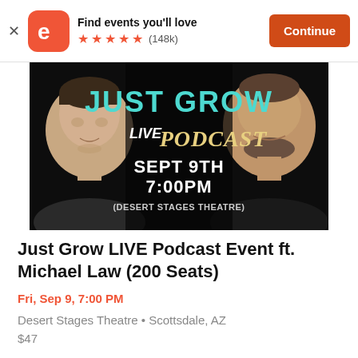Find events you'll love ★★★★★ (148k) Continue
[Figure (photo): Event promotional image for 'Just Grow LIVE Podcast' featuring two men's faces on dark background with cyan and white text reading: JUST GROW LIVE PODCAST SEPT 9TH 7:00PM (DESERT STAGES THEATRE)]
Just Grow LIVE Podcast Event ft. Michael Law (200 Seats)
Fri, Sep 9, 7:00 PM
Desert Stages Theatre • Scottsdale, AZ
$47